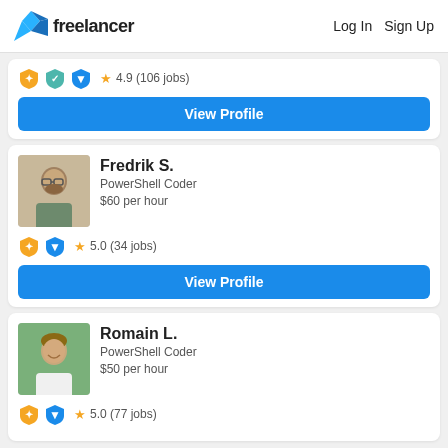freelancer  Log In  Sign Up
★ 4.9 (106 jobs)
View Profile
[Figure (photo): Profile photo of Fredrik S., a man with glasses and beard]
Fredrik S.
PowerShell Coder
$60 per hour
★ 5.0 (34 jobs)
View Profile
[Figure (photo): Profile photo of Romain L., a young man smiling]
Romain L.
PowerShell Coder
$50 per hour
★ 5.0 (77 jobs)